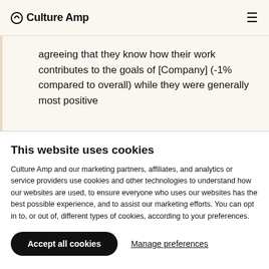Culture Amp
agreeing that they know how their work contributes to the goals of [Company] (-1% compared to overall) while they were generally most positive
This website uses cookies
Culture Amp and our marketing partners, affiliates, and analytics or service providers use cookies and other technologies to understand how our websites are used, to ensure everyone who uses our websites has the best possible experience, and to assist our marketing efforts. You can opt in to, or out of, different types of cookies, according to your preferences.
Accept all cookies | Manage preferences